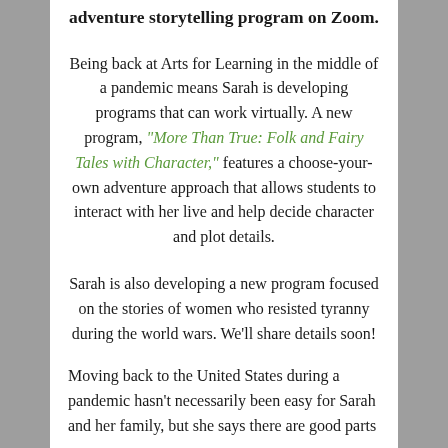adventure storytelling program on Zoom.
Being back at Arts for Learning in the middle of a pandemic means Sarah is developing programs that can work virtually. A new program, “More Than True: Folk and Fairy Tales with Character,” features a choose-your-own adventure approach that allows students to interact with her live and help decide character and plot details.
Sarah is also developing a new program focused on the stories of women who resisted tyranny during the world wars. We’ll share details soon!
Moving back to the United States during a pandemic hasn’t necessarily been easy for Sarah and her family, but she says there are good parts